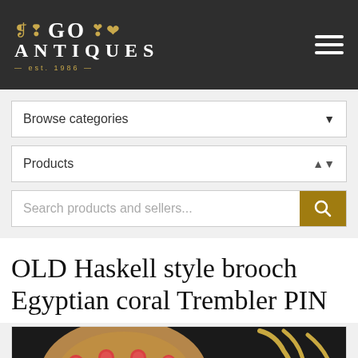GO ANTIQUES est. 1986
Browse categories
Products
Search products and sellers...
OLD Haskell style brooch Egyptian coral Trembler PIN
[Figure (photo): Close-up photo of an antique Haskell-style Egyptian coral Trembler brooch PIN, showing gold-tone metal settings with coral red round beads and blue-white opalescent teardrop-shaped stones against a dark background]